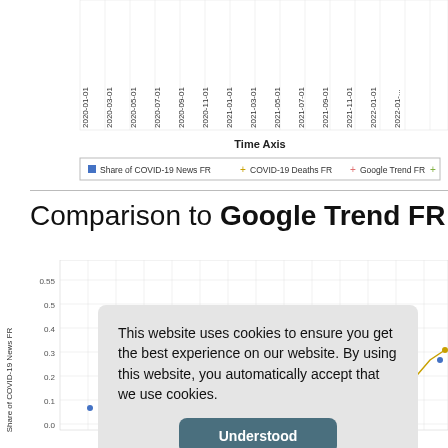[Figure (continuous-plot): Bottom portion of a time-series line chart showing x-axis date labels from 2020-01-01 to 2022-01-01+, with 'Time Axis' label and legend showing Share of COVID-19 News FR, COVID-19 Deaths FR, Google Trend FR]
Time Axis
Comparison to Google Trend FR
[Figure (continuous-plot): Line chart comparing Share of COVID-19 News FR vs Google Trend FR over time, partially obscured by cookie consent overlay. Y-axis shows 'Share of COVID-19 News FR' with values from -0.05 to 0.55.]
This website uses cookies to ensure you get the best experience on our website. By using this website, you automatically accept that we use cookies.